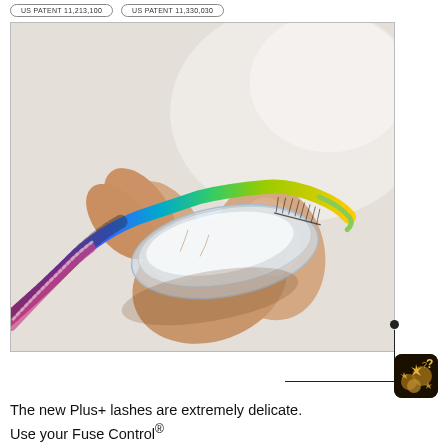US PATENT 11,213,100   US PATENT 11,330,030
[Figure (photo): Close-up photo of a hand holding a clear eyelash tray, with a colorful rainbow-striped lash applicator tool being used to lift individual lashes from the tray. The background is light gray/white.]
[Figure (photo): Small square thumbnail showing a dark background with golden sparkle/glitter elements and a question mark icon.]
The new Plus+ lashes are extremely delicate. Use your Fuse Control®